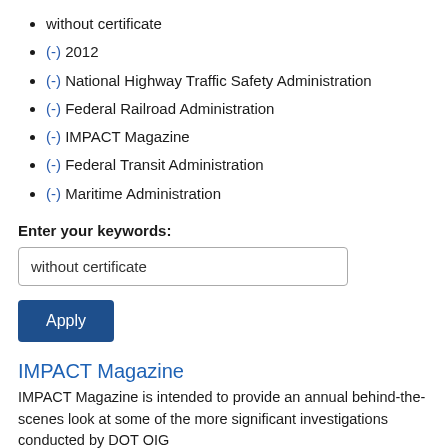without certificate
(-) 2012
(-) National Highway Traffic Safety Administration
(-) Federal Railroad Administration
(-) IMPACT Magazine
(-) Federal Transit Administration
(-) Maritime Administration
Enter your keywords:
without certificate
Apply
IMPACT Magazine
IMPACT Magazine is intended to provide an annual behind-the-scenes look at some of the more significant investigations conducted by DOT OIG